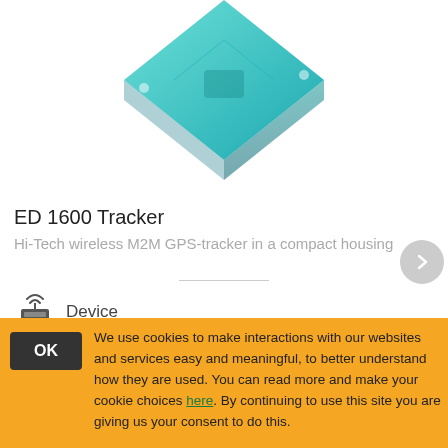[Figure (photo): 3D rendering of the ED 1600 Tracker device — a teal/turquoise colored GPS tracker module with a square form factor, shown partially cropped at the top.]
ED 1600 Tracker
Hi-Tech wireless M2M GPS-tracker in a compact housing
[Figure (illustration): Small icon of a wireless transmitter/device (antenna with signal waves above a box/modem)]
Device
Commercially available
We use cookies to make interactions with our websites and services easy and meaningful, to better understand how they are used. You can read more and make your cookie choices here. By continuing to use this site you are giving us your consent to do this.